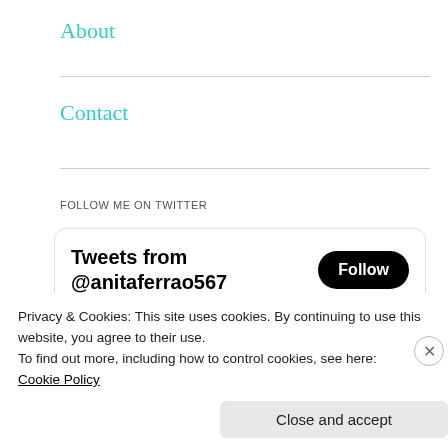About
Contact
FOLLOW ME ON TWITTER
[Figure (screenshot): Twitter widget showing 'Tweets from @anitaferrao567' with a Follow button, and a tweet from analucascar... @anitafer... · Jan 22 with link gofund.me/8f1b0b29]
Privacy & Cookies: This site uses cookies. By continuing to use this website, you agree to their use.
To find out more, including how to control cookies, see here:
Cookie Policy
Close and accept